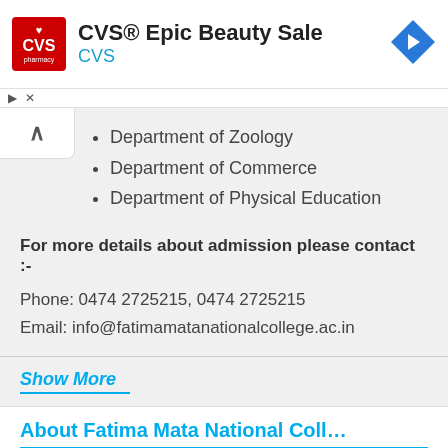[Figure (screenshot): CVS Pharmacy advertisement banner with red logo, text 'CVS® Epic Beauty Sale' and 'CVS', and a blue navigation arrow icon on the right]
Department of Zoology
Department of Commerce
Department of Physical Education
For more details about admission please contact :-
Phone: 0474 2725215, 0474 2725215
Email: info@fatimamatanationalcollege.ac.in
Show More
About Fatima Mata National Coll…